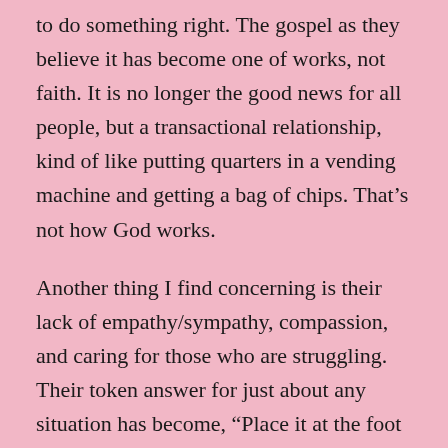to do something right. The gospel as they believe it has become one of works, not faith. It is no longer the good news for all people, but a transactional relationship, kind of like putting quarters in a vending machine and getting a bag of chips. That's not how God works.
Another thing I find concerning is their lack of empathy/sympathy, compassion, and caring for those who are struggling. Their token answer for just about any situation has become, “Place it at the foot of the cross and walk away.” They seem unaware, either deliberately or otherwise, not everything can be resolved in that way. The church should be a resource for the homeless, the hungry, abused, neglected, lonely, and struggling. It should be